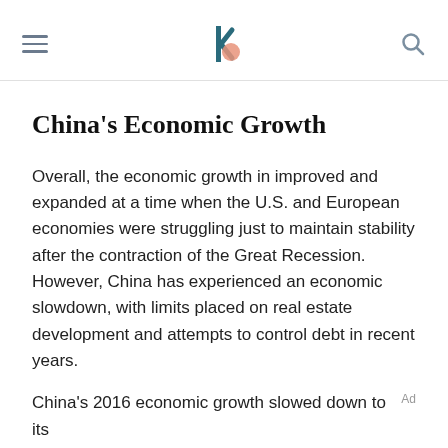Navigation header with hamburger menu, logo, and search icon
China's Economic Growth
Overall, the economic growth in improved and expanded at a time when the U.S. and European economies were struggling just to maintain stability after the contraction of the Great Recession. However, China has experienced an economic slowdown, with limits placed on real estate development and attempts to control debt in recent years.
China's 2016 economic growth slowed down to its